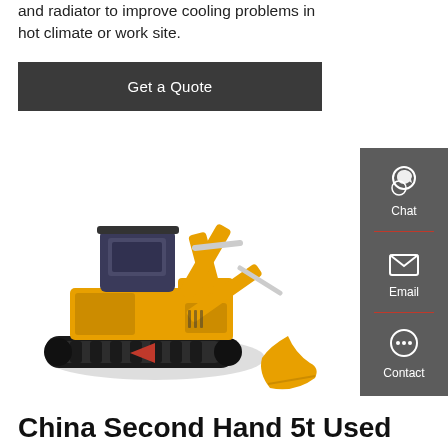and radiator to improve cooling problems in hot climate or work site.
Get a Quote
[Figure (photo): Yellow mini excavator / compact excavator with black tracks, raised cab, hydraulic arm extended downward with bucket attachment, on white background.]
[Figure (infographic): Vertical sidebar with dark grey background showing three contact options: Chat (headset icon), Email (envelope icon), Contact (speech bubble icon), separated by red divider lines.]
China Second Hand 5t Used